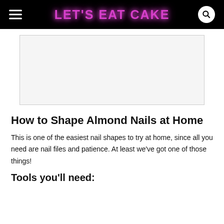LET'S EAT CAKE
[Figure (other): Advertisement placeholder box, light gray with border]
How to Shape Almond Nails at Home
This is one of the easiest nail shapes to try at home, since all you need are nail files and patience. At least we've got one of those things!
Tools you'll need: